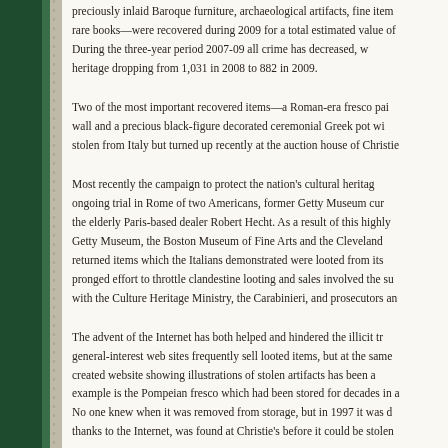preciously inlaid Baroque furniture, archaeological artifacts, fine items, rare books—were recovered during 2009 for a total estimated value of. During the three-year period 2007-09 all crime has decreased, with heritage dropping from 1,031 in 2008 to 882 in 2009.
Two of the most important recovered items—a Roman-era fresco painted on a wall and a precious black-figure decorated ceremonial Greek pot which were stolen from Italy but turned up recently at the auction house of Christie's.
Most recently the campaign to protect the nation's cultural heritage includes the ongoing trial in Rome of two Americans, former Getty Museum curators, and the elderly Paris-based dealer Robert Hecht. As a result of this highly publicized case, Getty Museum, the Boston Museum of Fine Arts and the Cleveland Museum returned items which the Italians demonstrated were looted from its soil. The three-pronged effort to throttle clandestine looting and sales involved the sustained work with the Culture Heritage Ministry, the Carabinieri, and prosecutors and.
The advent of the Internet has both helped and hindered the illicit trade. General-interest web sites frequently sell looted items, but at the same time a specially created website showing illustrations of stolen artifacts has been a boon. One example is the Pompeian fresco which had been stored for decades in a Swiss warehouse. No one knew when it was removed from storage, but in 1997 it was d. And thanks to the Internet, was found at Christie's before it could be stolen.